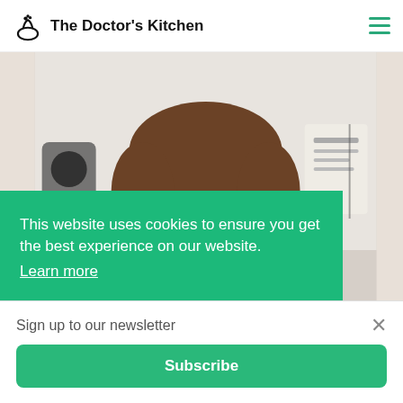The Doctor's Kitchen
[Figure (photo): Close-up portrait photo of a young male doctor with short brown hair, wearing blue scrubs, smiling slightly. Medical equipment and bags visible in background.]
This website uses cookies to ensure you get the best experience on our website.
Learn more
Sign up to our newsletter
Subscribe